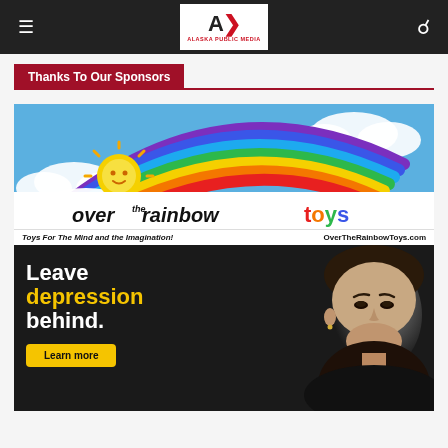Alaska Public Media
Thanks To Our Sponsors
[Figure (logo): Over The Rainbow Toys advertisement: colorful rainbow arc with sun logo, text 'over the rainbow toys', tagline 'Toys For The Mind and the Imagination!' and URL 'OverTheRainbowToys.com']
[Figure (photo): Health advertisement showing a young woman's face on dark background with text 'Leave depression behind.' and a yellow 'Learn more' button]